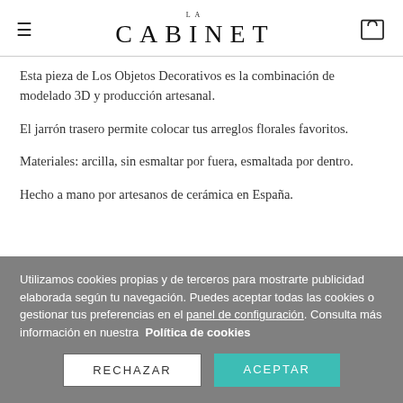LA CABINET
Esta pieza de Los Objetos Decorativos es la combinación de modelado 3D y producción artesanal.
El jarrón trasero permite colocar tus arreglos florales favoritos.
Materiales: arcilla, sin esmaltar por fuera, esmaltada por dentro.
Hecho a mano por artesanos de cerámica en España.
Utilizamos cookies propias y de terceros para mostrarte publicidad elaborada según tu navegación. Puedes aceptar todas las cookies o gestionar tus preferencias en el panel de configuración. Consulta más información en nuestra Política de cookies